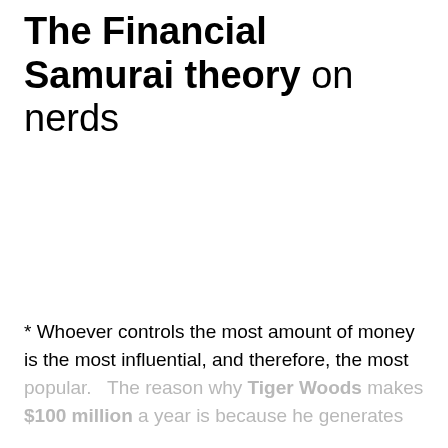The Financial Samurai theory on nerds
* Whoever controls the most amount of money is the most influential, and therefore, the most popular.  The reason why Tiger Woods makes $100 million a year is because he generates